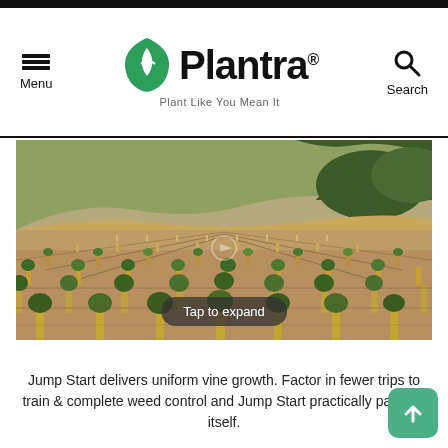Menu | Plantra. Plant Like You Mean It | Search
[Figure (photo): Aerial view of a vineyard with rows of young grapevines with protective sleeves, set against rolling hills with dry grass and trees in the background. A 'Tap to expand' overlay button appears at the bottom of the image.]
Jump Start delivers uniform vine growth. Factor in fewer trips to train & complete weed control and Jump Start practically pays for itself.